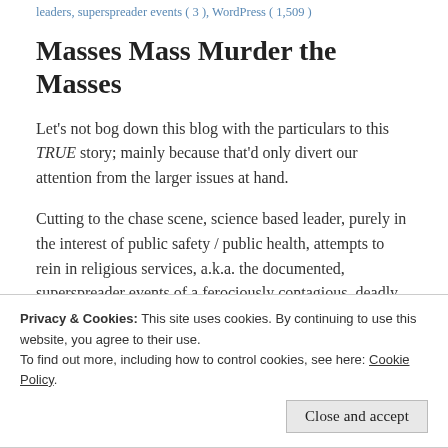leaders, superspreader events ( 3 ), WordPress ( 1,509 )
Masses Mass Murder the Masses
Let's not bog down this blog with the particulars to this TRUE story; mainly because that'd only divert our attention from the larger issues at hand.
Cutting to the chase scene, science based leader, purely in the interest of public safety / public health, attempts to rein in religious services, a.k.a. the documented, superspreader events of a ferociously contagious, deadly pathogen. Faith based judges rein in said leader with their ruling that his pandemic protocols infringe upon the rights of the people to worship in whatever manner they see fit!
Privacy & Cookies: This site uses cookies. By continuing to use this website, you agree to their use.
To find out more, including how to control cookies, see here: Cookie Policy
Close and accept